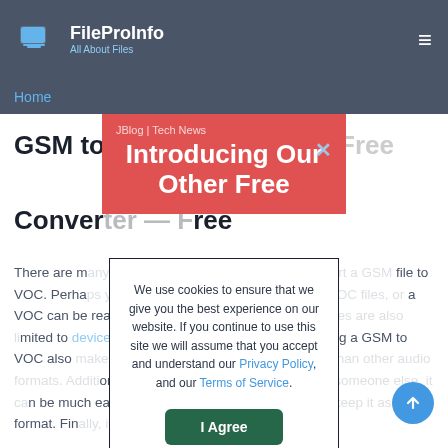FileProInfo — All About Files
Home
[Figure (screenshot): JBlog | Tech News ad banner — red background with text 'Introducing Our Other Free' and an X close button]
GSM to VOC Converter — Free
There are many reasons why you might want to convert a GSM file to VOC. Perhaps you have a device that only supports VOC files, or a VOC can be read on a wider range of devices. VOC files are also limited to devices that support the format. By converting a GSM to VOC also makes VOC files more accessible. VOC files tend to be smaller in size than other audio formats. Additionally, if you want to share a VOC with someone else, it can be much easier to convert to VOC format than to keep it as GSM format. Finally, if you're looking for a quick
[Figure (screenshot): Cookie consent dialog: 'We use cookies to ensure that we give you the best experience on our website. If you continue to use this site we will assume that you accept and understand our Privacy Policy, and our Terms of Service.' with an 'I Agree' button]